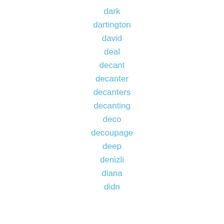dark
dartington
david
deal
decant
decanter
decanters
decanting
deco
decoupage
deep
denizli
diana
didn